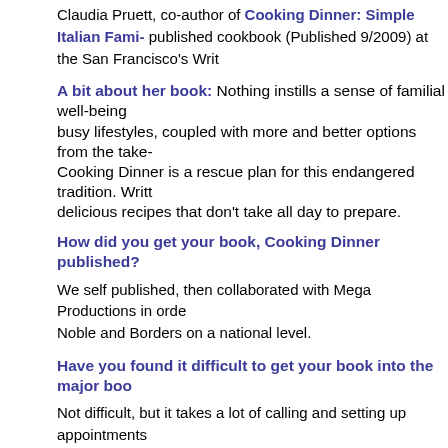Claudia Pruett, co-author of Cooking Dinner: Simple Italian Fam... published cookbook (Published 9/2009) at the San Francisco's Writ...
A bit about her book:
A bit about her book: Nothing instills a sense of familial well-being... busy lifestyles, coupled with more and better options from the take-... Cooking Dinner is a rescue plan for this endangered tradition. Writt... delicious recipes that don't take all day to prepare.
How did you get your book, Cooking Dinner published?
We self published, then collaborated with Mega Productions in orde... Noble and Borders on a national level.
Have you found it difficult to get your book into the major boo...
Not difficult, but it takes a lot of calling and setting up appointments... but we also had to make sales calls. We've been able to get our bo... been successful with independent booksellers across the country.
In your opinion, what's contributed to your books success?
The recipes in our book work, and they are familiar to people, whic...
• Man Hours – Book Signings Every Weekend
• The Cover – It's Approachable